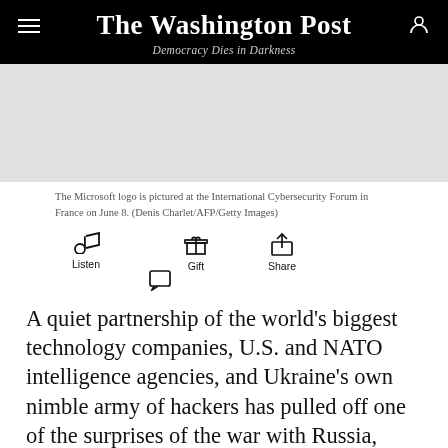The Washington Post
Democracy Dies in Darkness
[Figure (photo): Placeholder image area for the Microsoft logo at the International Cybersecurity Forum]
The Microsoft logo is pictured at the International Cybersecurity Forum in France on June 8. (Denis Charlet/AFP/Getty Images)
Listen  Gift  Share  Comment
A quiet partnership of the world's biggest technology companies, U.S. and NATO intelligence agencies, and Ukraine's own nimble army of hackers has pulled off one of the surprises of the war with Russia, largely foiling the Kremlin's brazen internet hacking